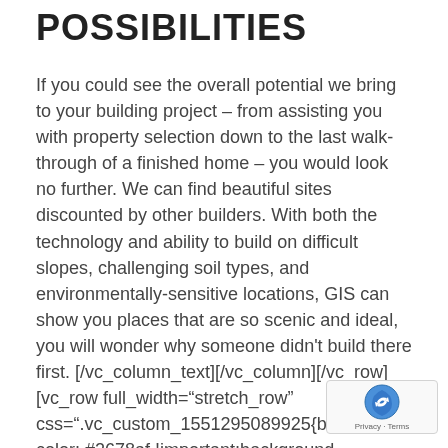POSSIBILITIES
If you could see the overall potential we bring to your building project – from assisting you with property selection down to the last walk-through of a finished home – you would look no further. We can find beautiful sites discounted by other builders. With both the technology and ability to build on difficult slopes, challenging soil types, and environmentally-sensitive locations, GIS can show you places that are so scenic and ideal, you will wonder why someone didn't build there first. [/vc_column_text][/vc_column][/vc_row] [vc_row full_width="stretch_row" css=".vc_custom_1551295089925{backgr color: #2678af !important;background